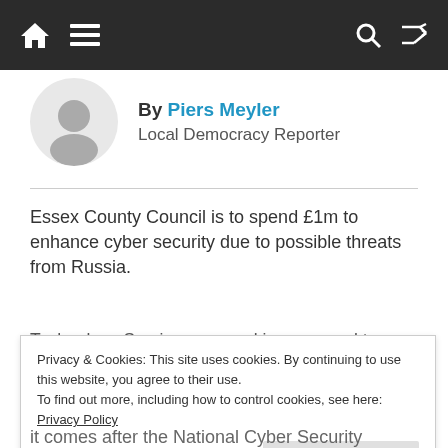Navigation bar with home, menu, search, and shuffle icons
By Piers Meyler
Local Democracy Reporter
Essex County Council is to spend £1m to enhance cyber security due to possible threats from Russia.
Technology Services are seeking approval to draw
Privacy & Cookies: This site uses cookies. By continuing to use this website, you agree to their use.
To find out more, including how to control cookies, see here: Privacy Policy
Close and accept
it comes after the National Cyber Security Centre